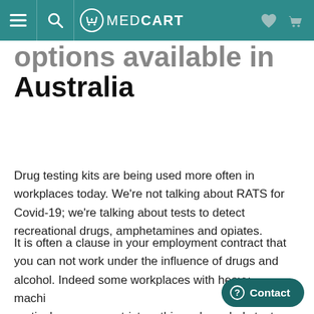MEDCART
options available in Australia
Drug testing kits are being used more often in workplaces today. We're not talking about RATS for Covid-19; we're talking about tests to detect recreational drugs, amphetamines and opiates.
It is often a clause in your employment contract that you can not work under the influence of drugs and alcohol. Indeed some workplaces with heavy machinery in particular, are very strict on this and regularly test their staff.